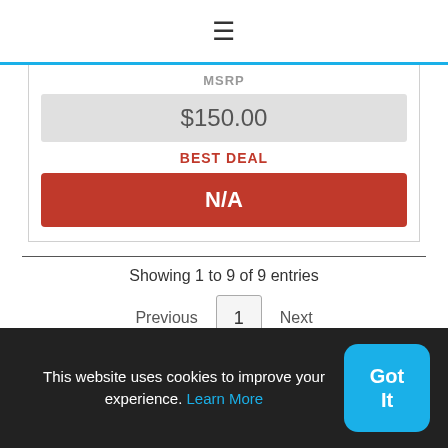≡
MSRP
$150.00
BEST DEAL
N/A
Showing 1 to 9 of 9 entries
Previous  1  Next
SUMMARY OF MEN'S LIGHT HIKING BOOTS REVIEWS
This website uses cookies to improve your experience. Learn More
Got It